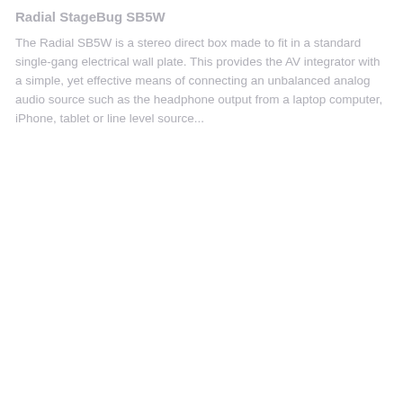Radial StageBug SB5W
The Radial SB5W is a stereo direct box made to fit in a standard single-gang electrical wall plate. This provides the AV integrator with a simple, yet effective means of connecting an unbalanced analog audio source such as the headphone output from a laptop computer, iPhone, tablet or line level source...